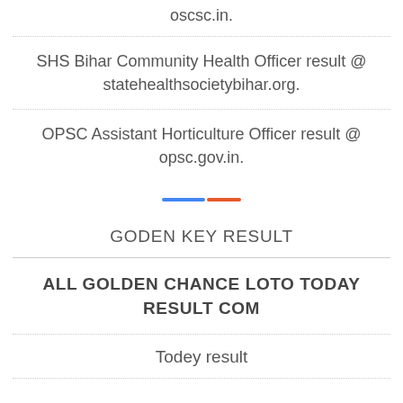oscsc.in.
SHS Bihar Community Health Officer result @ statehealthsocietybihar.org.
OPSC Assistant Horticulture Officer result @ opsc.gov.in.
[Figure (other): Decorative horizontal two-tone bar: blue segment followed by orange/red segment]
GODEN KEY RESULT
ALL GOLDEN CHANCE LOTO TODAY RESULT COM
Todey result